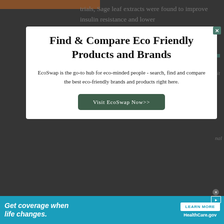trials, Sage leaf extracts were found to improve insulin resistance and lower
[Figure (screenshot): Modal popup advertisement for EcoSwap eco-friendly products comparison website, overlaid on a dimmed webpage background]
Find & Compare Eco Friendly Products and Brands
EcoSwap is the go-to hub for eco-minded people - search, find and compare the best eco-friendly brands and products right here.
Visit EcoSwap Now>>
[Figure (screenshot): Bottom banner advertisement for HealthCare.gov — 'Get coverage when life changes.' with LEARN MORE button]
Get coverage when life changes.
LEARN MORE
HealthCare.gov